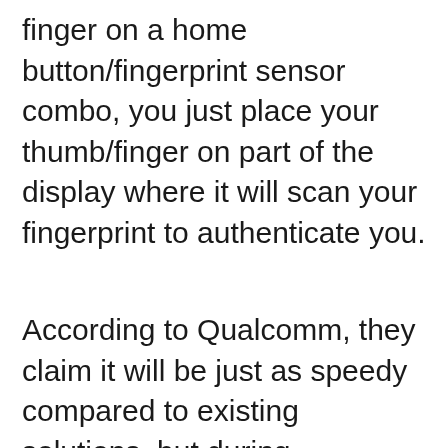finger on a home button/fingerprint sensor combo, you just place your thumb/finger on part of the display where it will scan your fingerprint to authenticate you.
According to Qualcomm, they claim it will be just as speedy compared to existing solutions, but during Engadget's hands on, it was found to be noticeably slower. It is possible that maybe the tech is still early